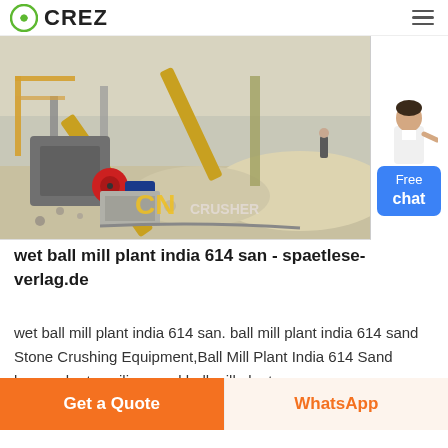CREZ
[Figure (photo): Outdoor industrial stone crushing plant with conveyor belts, crushers, and piles of crushed stone/sand. CN CRUSHER watermark visible.]
wet ball mill plant india 614 san - spaetlese-verlag.de
wet ball mill plant india 614 san. ball mill plant india 614 sand Stone Crushing Equipment,Ball Mill Plant India 614 Sand kasprzykarteu silica sand ball mill plant